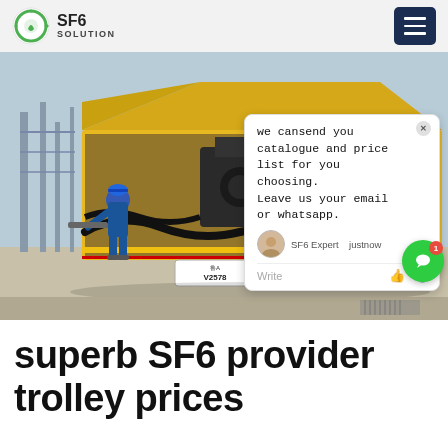SF6 SOLUTION
[Figure (photo): A yellow SF6 service truck with its rear doors open, loaded with equipment and cables. A worker in blue coveralls and hard hat is loading/unloading at an electrical substation. A chat popup overlay is visible on the right side of the image reading: 'we cansend you catalogue and price list for you choosing. Leave us your email or whatsapp.' with SF6 Expert label and 'just now' timestamp.]
superb SF6 provider trolley prices